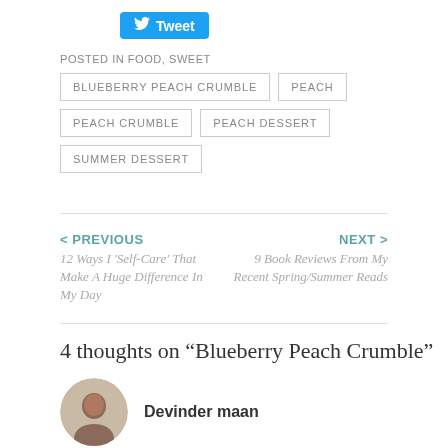[Figure (other): Tweet button (blue rounded rectangle with bird icon and 'Tweet' text)]
POSTED IN FOOD, SWEET
BLUEBERRY PEACH CRUMBLE
PEACH
PEACH CRUMBLE
PEACH DESSERT
SUMMER DESSERT
< PREVIOUS
12 Ways I 'Self-Care' That Make A Huge Difference In My Day
NEXT >
9 Book Reviews From My Recent Spring/Summer Reads
4 thoughts on “Blueberry Peach Crumble”
Devinder maan